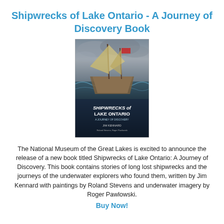Shipwrecks of Lake Ontario - A Journey of Discovery Book
[Figure (photo): Book cover of 'Shipwrecks of Lake Ontario: A Journey of Discovery' showing a dramatic painting of a sailing ship in stormy seas with the title and author Jim Kennard printed on the lower portion.]
The National Museum of the Great Lakes is excited to announce the release of a new book titled Shipwrecks of Lake Ontario: A Journey of Discovery. This book contains stories of long lost shipwrecks and the journeys of the underwater explorers who found them, written by Jim Kennard with paintings by Roland Stevens and underwater imagery by Roger Pawlowski.
Buy Now!